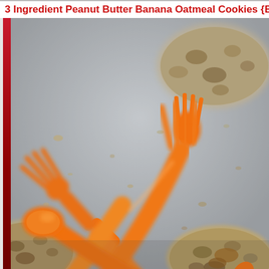3 Ingredient Peanut Butter Banana Oatmeal Cookies {B
[Figure (photo): Close-up photo of two orange plastic forks/sporks crossed over each other on a baking sheet, surrounded by oatmeal cookie crumbs and oatmeal cookies in the background]